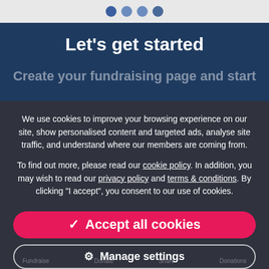[Figure (screenshot): Top navigation bar with four circular dot indicators on a light grey background]
Let's get started
Create your fundraising page and start
We use cookies to improve your browsing experience on our site, show personalised content and targeted ads, analyse site traffic, and understand where our members are coming from.

To find out more, please read our cookie policy. In addition, you may wish to read our privacy policy and terms & conditions. By clicking "I accept", you consent to our use of cookies.
✓ Accept all cookies
⚙ Manage settings